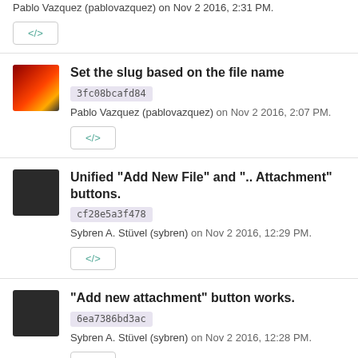Pablo Vazquez (pablovazquez) on Nov 2 2016, 2:31 PM.
</>
Set the slug based on the file name
3fc08bcafd84
Pablo Vazquez (pablovazquez) on Nov 2 2016, 2:07 PM.
</>
Unified "Add New File" and ".. Attachment" buttons.
cf28e5a3f478
Sybren A. Stüvel (sybren) on Nov 2 2016, 12:29 PM.
</>
"Add new attachment" button works.
6ea7386bd3ac
Sybren A. Stüvel (sybren) on Nov 2 2016, 12:28 PM.
</>